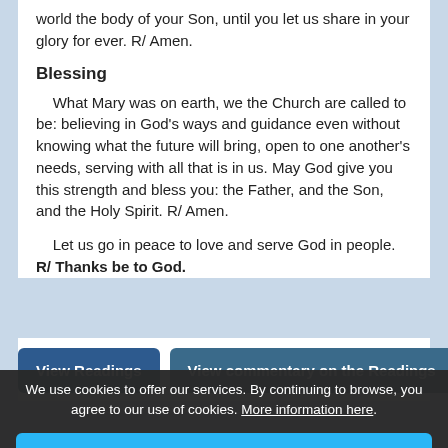world the body of your Son, until you let us share in your glory for ever. R/ Amen.
Blessing
What Mary was on earth, we the Church are called to be: believing in God's ways and guidance even without knowing what the future will bring, open to one another's needs, serving with all that is in us. May God give you this strength and bless you: the Father, and the Son, and the Holy Spirit. R/ Amen.
Let us go in peace to love and serve God in people. R/ Thanks be to God.
[Figure (screenshot): Two buttons: 'View Readings' and 'View commentary on the Readings']
We use cookies to offer our services. By continuing to browse, you agree to our use of cookies. More information here.
I AGREE